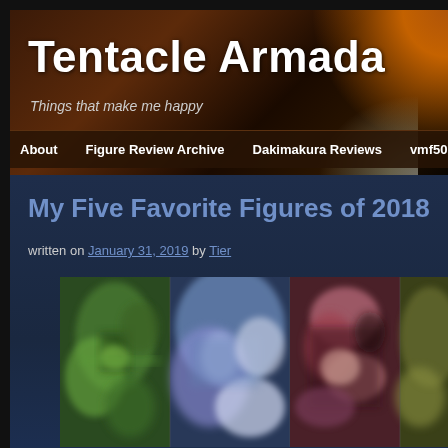Tentacle Armada
Things that make me happy
About   Figure Review Archive   Dakimakura Reviews   vmf50 Doll
My Five Favorite Figures of 2018
written on January 31, 2019 by Tier
[Figure (photo): Blurred collage of anime figures with green, blue/purple, pink/red, and olive color panels]